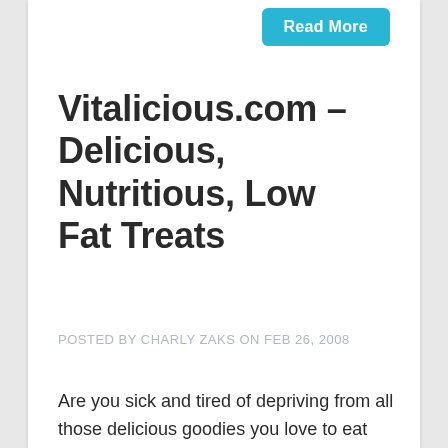[Figure (other): Read More button — cyan/teal rounded rectangle with white bold text]
Vitalicious.com – Delicious, Nutritious, Low Fat Treats
POSTED BY CHARLY ZAKS ON FEB 26, 2008
Are you sick and tired of depriving from all those delicious goodies you love to eat because they are fattening and unhealthy? Would you like to be able to eat muffins and cupcakes and not have to worry about the food that you consume?